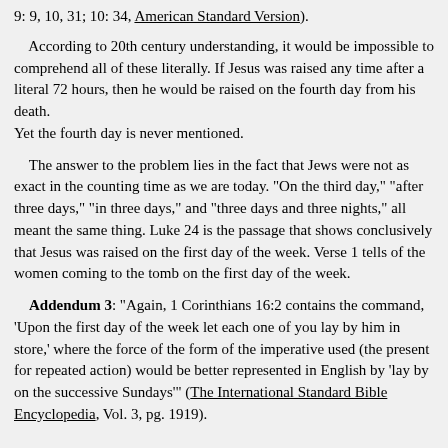9: 9, 10, 31; 10: 34, American Standard Version).
According to 20th century understanding, it would be impossible to comprehend all of these literally. If Jesus was raised any time after a literal 72 hours, then he would be raised on the fourth day from his death.
Yet the fourth day is never mentioned.
The answer to the problem lies in the fact that Jews were not as exact in the counting time as we are today. "On the third day," "after three days," "in three days," and "three days and three nights," all meant the same thing. Luke 24 is the passage that shows conclusively that Jesus was raised on the first day of the week. Verse 1 tells of the women coming to the tomb on the first day of the week.
Addendum 3: "Again, 1 Corinthians 16:2 contains the command, 'Upon the first day of the week let each one of you lay by him in store,' where the force of the form of the imperative used (the present for repeated action) would be better represented in English by 'lay by on the successive Sundays'" (The International Standard Bible Encyclopedia, Vol. 3, pg. 1919).